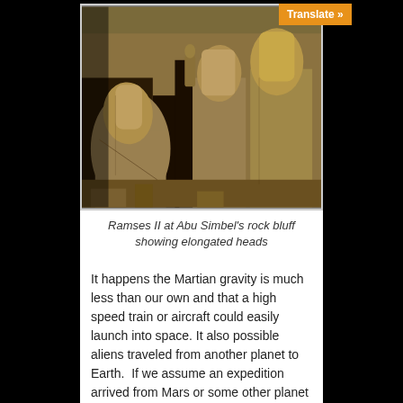[Figure (photo): Black and white photograph of massive stone statues of Ramses II at Abu Simbel, showing seated colossal figures carved into rock, with elongated heads visible.]
Ramses II at Abu Simbel's rock bluff showing elongated heads
It happens the Martian gravity is much less than our own and that a high speed train or aircraft could easily launch into space. It also possible aliens traveled from another planet to Earth.  If we assume an expedition arrived from Mars or some other planet 5000 years ago, they would land among cavemen with limited technological ability.  Almost overnight metals were mined and forged, pottery